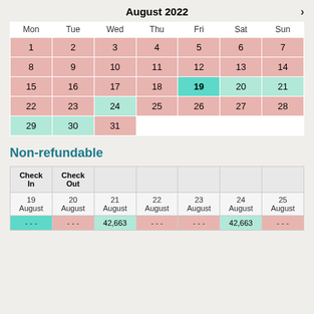August 2022
| Mon | Tue | Wed | Thu | Fri | Sat | Sun |
| --- | --- | --- | --- | --- | --- | --- |
| 1 | 2 | 3 | 4 | 5 | 6 | 7 |
| 8 | 9 | 10 | 11 | 12 | 13 | 14 |
| 15 | 16 | 17 | 18 | 19 | 20 | 21 |
| 22 | 23 | 24 | 25 | 26 | 27 | 28 |
| 29 | 30 | 31 |  |  |  |  |
Non-refundable
| Check In | Check Out |  |  |  |  |  |
| --- | --- | --- | --- | --- | --- | --- |
| 19 August | 20 August | 21 August | 22 August | 23 August | 24 August | 25 August |
| - - - | - - - | 42,663 | - - - | - - - | 42,663 | - - - |